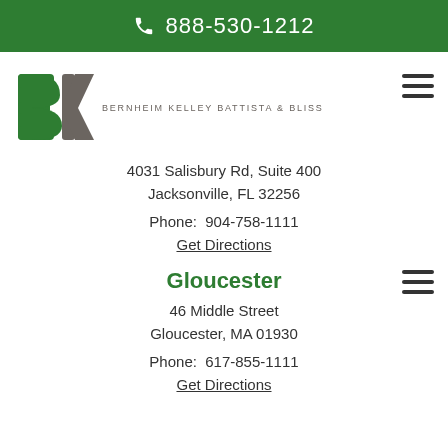888-530-1212
[Figure (logo): Bernheim Kelley Battista & Bliss law firm logo with BK initials and firm name]
4031 Salisbury Rd, Suite 400
Jacksonville, FL 32256
Phone: 904-758-1111
Get Directions
Gloucester
46 Middle Street
Gloucester, MA 01930
Phone: 617-855-1111
Get Directions